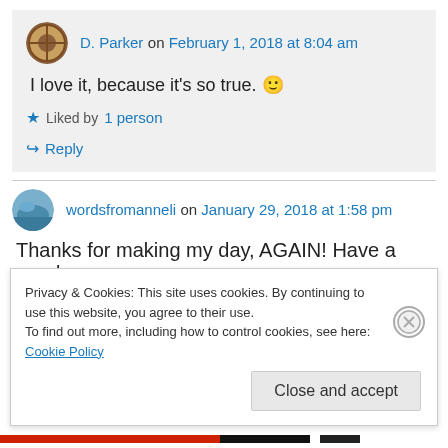D. Parker on February 1, 2018 at 8:04 am
I love it, because it's so true. 🙂
Liked by 1 person
↪ Reply
wordsfromanneli on January 29, 2018 at 1:58 pm
Thanks for making my day, AGAIN! Have a good
Privacy & Cookies: This site uses cookies. By continuing to use this website, you agree to their use.
To find out more, including how to control cookies, see here: Cookie Policy
Close and accept